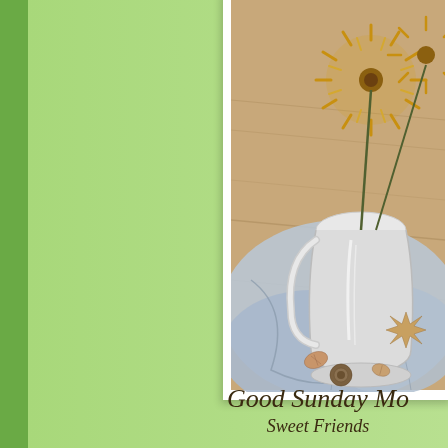[Figure (illustration): A still life illustration showing a white pitcher/vase with yellow chrysanthemum flowers, seashells, a starfish, and draped fabric on a surface, rendered in a soft sketched/painted style.]
Good Sunday Mo
Sweet Friends